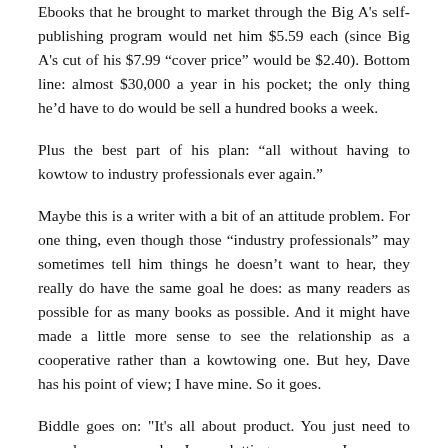Ebooks that he brought to market through the Big A's self-publishing program would net him $5.59 each (since Big A's cut of his $7.99 “cover price” would be $2.40). Bottom line: almost $30,000 a year in his pocket; the only thing he’d have to do would be sell a hundred books a week.
Plus the best part of his plan: “all without having to kowtow to industry professionals ever again.”
Maybe this is a writer with a bit of an attitude problem. For one thing, even though those “industry professionals” may sometimes tell him things he doesn’t want to hear, they really do have the same goal he does: as many readers as possible for as many books as possible. And it might have made a little more sense to see the relationship as a cooperative rather than a kowtowing one. But hey, Dave has his point of view; I have mine. So it goes.
Biddle goes on: "It's all about product. You just need to pound away every day. I was plotting my career. I was